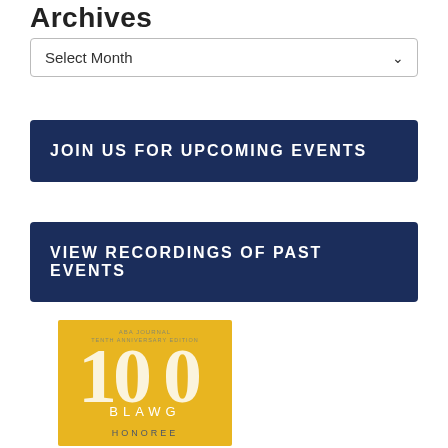Archives
Select Month
JOIN US FOR UPCOMING EVENTS
VIEW RECORDINGS OF PAST EVENTS
[Figure (illustration): ABA Journal Tenth Anniversary Edition 100 Blawg Honoree badge on yellow background]